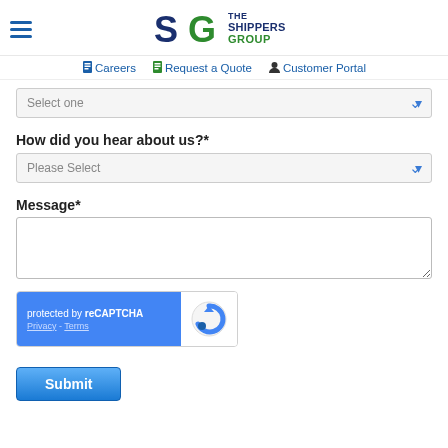[Figure (logo): The Shippers Group logo with hamburger menu icon on the left]
Careers | Request a Quote | Customer Portal
Select one
How did you hear about us?*
Please Select
Message*
[Figure (other): reCAPTCHA widget: protected by reCAPTCHA, Privacy - Terms, with Google reCAPTCHA logo]
Submit